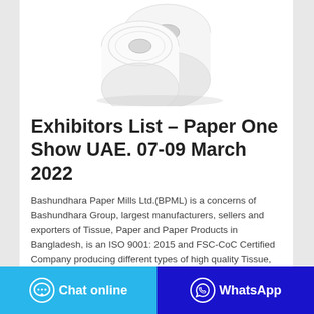[Figure (photo): Two white paper/tissue rolls stacked, product photo on white background]
Exhibitors List – Paper One Show UAE. 07-09 March 2022
Bashundhara Paper Mills Ltd.(BPML) is a concerns of Bashundhara Group, largest manufacturers, sellers and exporters of Tissue, Paper and Paper Products in Bangladesh, is an ISO 9001: 2015 and FSC-CoC Certified Company producing different types of high quality Tissue, Paper and Paper Products and are mainly being manufactured or made by Pulp